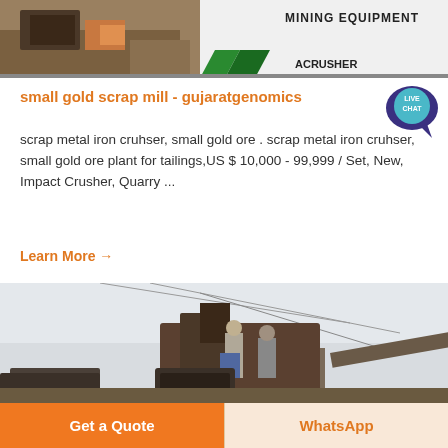[Figure (photo): Top portion of a mining equipment scene with workers and machinery, partially showing a banner that reads 'MINING EQUIPMENT ACRUSHER']
small gold scrap mill - gujaratgenomics
[Figure (logo): Live chat bubble icon in teal/dark blue color with text LIVE CHAT]
scrap metal iron cruhser, small gold ore . scrap metal iron cruhser, small gold ore plant for tailings,US $ 10,000 - 99,999 / Set, New, Impact Crusher, Quarry ...
Learn More →
[Figure (photo): Workers operating heavy mining/crushing equipment outdoors against a light sky background]
Get a Quote
WhatsApp